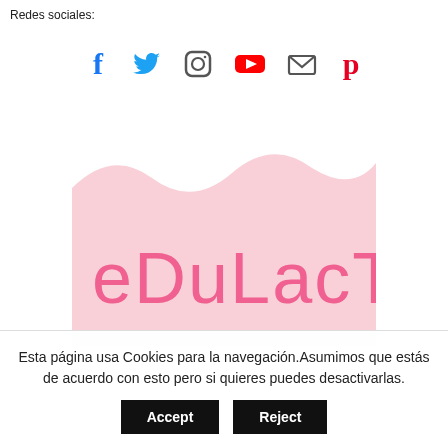Redes sociales:
[Figure (infographic): Social media icons: Facebook (dark blue), Twitter (blue), Instagram (outline), YouTube (red), Email (envelope), Pinterest (red)]
[Figure (logo): eDuLacTa logo — pink rounded hand-drawn lettering on a light pink background with wave shape]
Esta página usa Cookies para la navegación.Asumimos que estás de acuerdo con esto pero si quieres puedes desactivarlas.